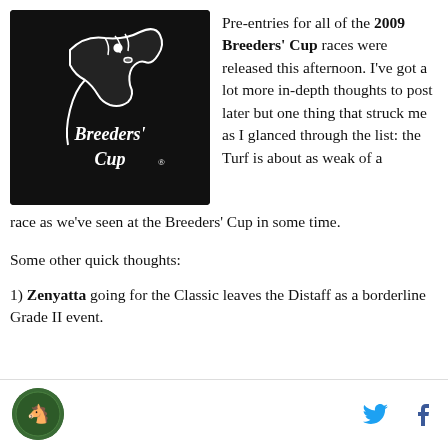[Figure (logo): Breeders' Cup logo — white horse head and script lettering on black background]
Pre-entries for all of the 2009 Breeders' Cup races were released this afternoon. I've got a lot more in-depth thoughts to post later but one thing that struck me as I glanced through the list: the Turf is about as weak of a race as we've seen at the Breeders' Cup in some time.
Some other quick thoughts:
1) Zenyatta going for the Classic leaves the Distaff as a borderline Grade II event.
Footer with site logo and social media icons (Twitter, Facebook)